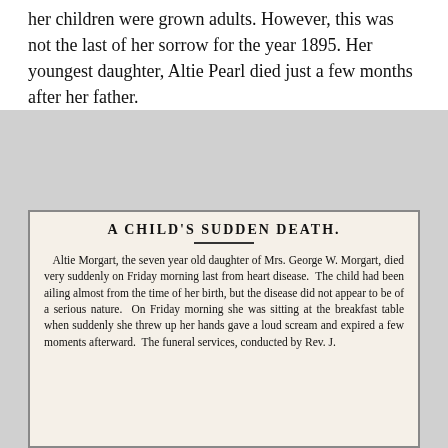her children were grown adults. However, this was not the last of her sorrow for the year 1895. Her youngest daughter, Altie Pearl died just a few months after her father.
[Figure (other): Newspaper clipping with headline 'A CHILD'S SUDDEN DEATH.' and article text about Altie Morgart, seven year old daughter of Mrs. George W. Morgart, who died suddenly on Friday morning from heart disease.]